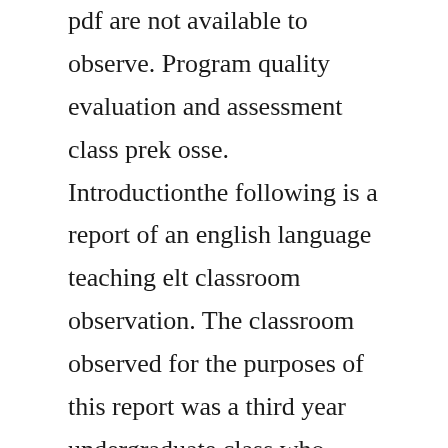pdf are not available to observe. Program quality evaluation and assessment class prek osse. Introductionthe following is a report of an english language teaching elt classroom observation. The classroom observed for the purposes of this report was a third year undergraduate class who studied in bari, italy. Download grille dobservation stagiaires suggestions book pdf free download link or read online here in pdf. A room or place especially in a school in which classes are conducted. Grille danalyse dune observation en classe contexte. Observation tools for